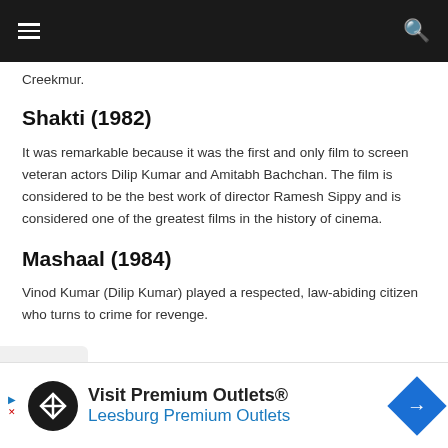Creekmur.
Shakti (1982)
It was remarkable because it was the first and only film to screen veteran actors Dilip Kumar and Amitabh Bachchan. The film is considered to be the best work of director Ramesh Sippy and is considered one of the greatest films in the history of cinema.
Mashaal (1984)
Vinod Kumar (Dilip Kumar) played a respected, law-abiding citizen who turns to crime for revenge.
[Figure (infographic): Advertisement for Visit Premium Outlets® Leesburg Premium Outlets with logo and navigation icon]